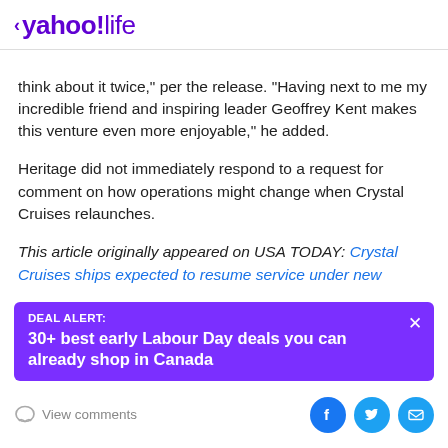< yahoo!life
think about it twice," per the release. "Having next to me my incredible friend and inspiring leader Geoffrey Kent makes this venture even more enjoyable," he added.
Heritage did not immediately respond to a request for comment on how operations might change when Crystal Cruises relaunches.
This article originally appeared on USA TODAY: Crystal Cruises ships expected to resume service under new
[Figure (infographic): Purple deal alert banner: DEAL ALERT: 30+ best early Labour Day deals you can already shop in Canada, with X close button]
View comments
[Figure (infographic): Social share icons: Facebook (blue circle), Twitter (light blue circle), Email (light blue circle)]